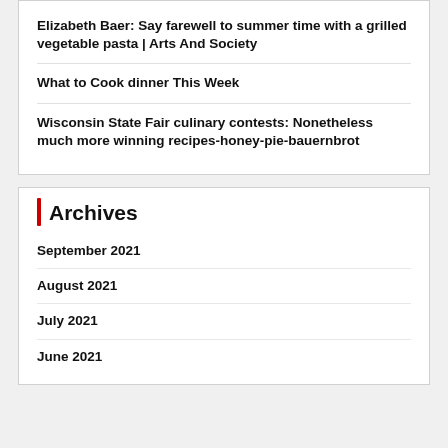Elizabeth Baer: Say farewell to summer time with a grilled vegetable pasta | Arts And Society
What to Cook dinner This Week
Wisconsin State Fair culinary contests: Nonetheless much more winning recipes-honey-pie-bauernbrot
Archives
September 2021
August 2021
July 2021
June 2021